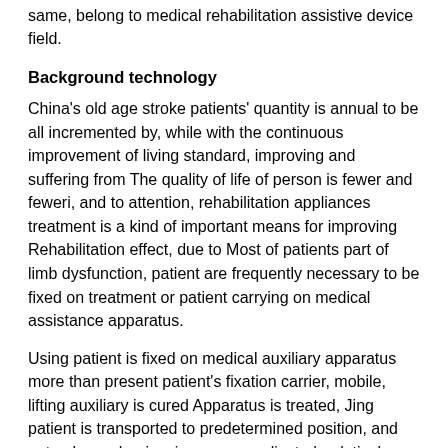same, belong to medical rehabilitation assistive device field.
Background technology
China's old age stroke patients' quantity is annual to be all incremented by, while with the continuous improvement of living standard, improving and suffering from The quality of life of person is fewer and feweri, and to attention, rehabilitation appliances treatment is a kind of important means for improving Rehabilitation effect, due to Most of patients part of limb dysfunction, patient are frequently necessary to be fixed on treatment or patient carrying on medical assistance apparatus.
Using patient is fixed on medical auxiliary apparatus more than present patient's fixation carrier, mobile, lifting auxiliary is cured Apparatus is treated, Jing patient is transported to predetermined position, and not only mechanism is more complicated, relatively costly, and the comfort level of patient is not high, this person is solid Determining carrier makes patient's attitude constant using single Motor drive, two grades of decelerations of self-locking worm gear worm decelerating machine, chain-